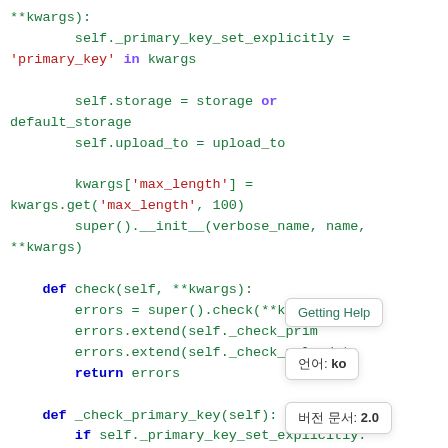Python code snippet showing Django FileField __init__ and check methods with tooltip overlays showing 'Getting Help', language 'ko', and version '2.0'